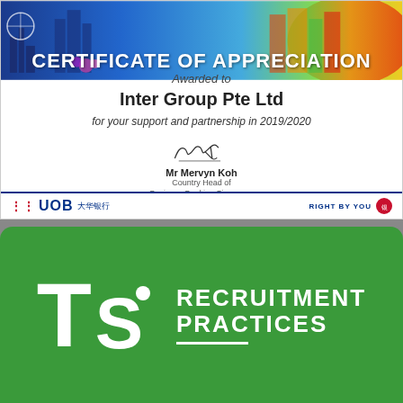[Figure (illustration): UOB Certificate of Appreciation awarded to Inter Group Pte Ltd for support and partnership in 2019/2020, signed by Mr Mervyn Koh, Country Head of Business Banking Singapore. Features a colorful Singapore skyline banner at top and UOB bank logo at bottom.]
CERTIFICATE OF APPRECIATION
Awarded to
Inter Group Pte Ltd
for your support and partnership in 2019/2020
Mr Mervyn Koh
Country Head of
Business Banking Singapore
[Figure (logo): UOB (大华银行) bank logo with red grid symbol, blue UOB text, Chinese characters, and RIGHT BY YOU tagline with red circle logo on right.]
[Figure (logo): TS logo on green background — large white T and S letters with dot above S — alongside white bold text: RECRUITMENT PRACTICES with white underline.]
RECRUITMENT
PRACTICES